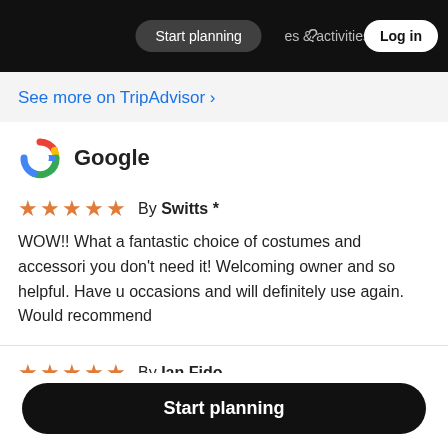Start planning   & activities   Log in
See more on TripAdvisor ›
[Figure (logo): Google multicolor G logo]
Google
★★★★★ By Switts *
WOW!! What a fantastic choice of costumes and accessories you don't need it! Welcoming owner and so helpful. Have u occasions and will definitely use again. Would recommend
★★★★★ By Ian Fido
Start planning